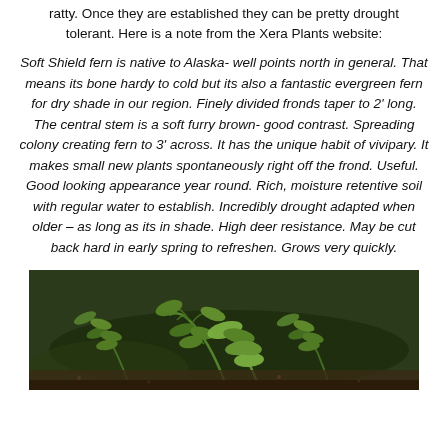ratty. Once they are established they can be pretty drought tolerant. Here is a note from the Xera Plants website:
Soft Shield fern is native to Alaska- well points north in general. That means its bone hardy to cold but its also a fantastic evergreen fern for dry shade in our region. Finely divided fronds taper to 2' long. The central stem is a soft furry brown- good contrast. Spreading colony creating fern to 3' across. It has the unique habit of vivipary. It makes small new plants spontaneously right off the frond. Useful. Good looking appearance year round. Rich, moisture retentive soil with regular water to establish. Incredibly drought adapted when older – as long as its in shade. High deer resistance. May be cut back hard in early spring to refreshen. Grows very quickly.
[Figure (photo): Close-up photograph of soft shield fern fronds with green divided leaves against a dark soil background]